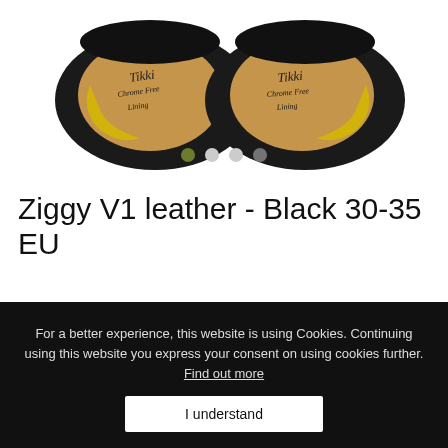[Figure (photo): Bottom view of two black leather children's shoes (Tikki brand) showing tan leather insoles with 'Tikki Chrome Free Lining' written in script. Yellow accent visible on heel.]
Ziggy V1 leather - Black 30-35 EU
Write a review
For a better experience, this website is using Cookies. Continuing using this website you express your consent on using cookies further. Find out more
I understand